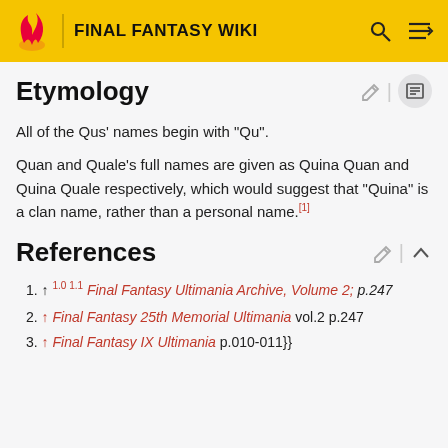FINAL FANTASY WIKI
Etymology
All of the Qus' names begin with "Qu".
Quan and Quale's full names are given as Quina Quan and Quina Quale respectively, which would suggest that "Quina" is a clan name, rather than a personal name.[1]
References
1. ↑ 1.0 1.1 Final Fantasy Ultimania Archive, Volume 2; p.247
2. ↑ Final Fantasy 25th Memorial Ultimania vol.2 p.247
3. ↑ Final Fantasy IX Ultimania p.010-011}}